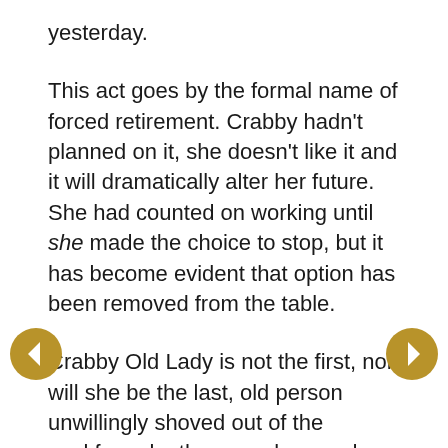yesterday.
This act goes by the formal name of forced retirement. Crabby hadn't planned on it, she doesn't like it and it will dramatically alter her future. She had counted on working until she made the choice to stop, but it has become evident that option has been removed from the table.
Crabby Old Lady is not the first, nor will she be the last, old person unwillingly shoved out of the workforce by the casual, everyday, ordinary, run-of-the-mill-gut-discriminating